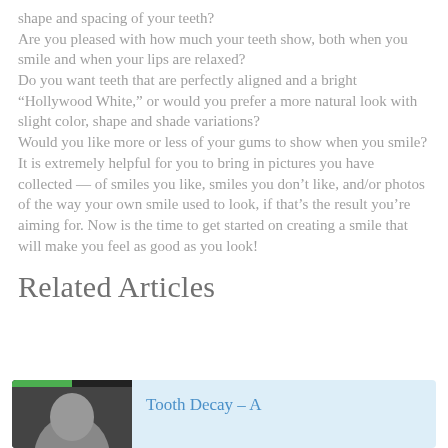shape and spacing of your teeth?
Are you pleased with how much your teeth show, both when you smile and when your lips are relaxed?
Do you want teeth that are perfectly aligned and a bright “Hollywood White,” or would you prefer a more natural look with slight color, shape and shade variations?
Would you like more or less of your gums to show when you smile?
It is extremely helpful for you to bring in pictures you have collected — of smiles you like, smiles you don’t like, and/or photos of the way your own smile used to look, if that’s the result you’re aiming for. Now is the time to get started on creating a smile that will make you feel as good as you look!
Related Articles
[Figure (other): Related article card with thumbnail image showing a face and a green bar at top, with text 'Tooth Decay – A' in blue]